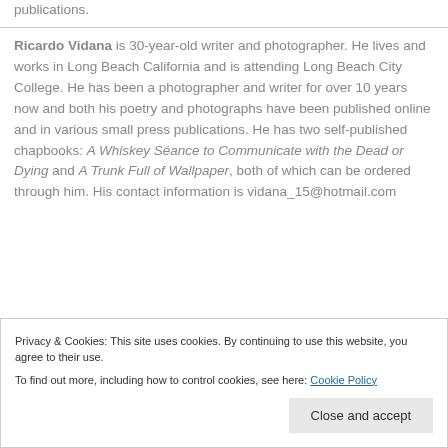publications.
Ricardo Vidana is 30-year-old writer and photographer. He lives and works in Long Beach California and is attending Long Beach City College. He has been a photographer and writer for over 10 years now and both his poetry and photographs have been published online and in various small press publications. He has two self-published chapbooks: A Whiskey Séance to Communicate with the Dead or Dying and A Trunk Full of Wallpaper, both of which can be ordered through him. His contact information is vidana_15@hotmail.com
Privacy & Cookies: This site uses cookies. By continuing to use this website, you agree to their use.
To find out more, including how to control cookies, see here: Cookie Policy
Close and accept